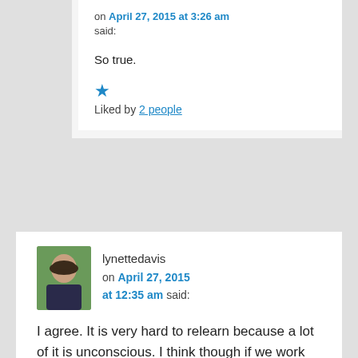on April 27, 2015 at 3:26 am said:
So true.
Liked by 2 people
lynettedavis on April 27, 2015 at 12:35 am said:
I agree. It is very hard to relearn because a lot of it is unconscious. I think though if we work as much as we can with the